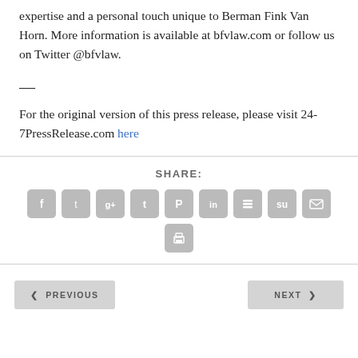expertise and a personal touch unique to Berman Fink Van Horn. More information is available at bfvlaw.com or follow us on Twitter @bfvlaw.
— For the original version of this press release, please visit 24-7PressRelease.com here
[Figure (infographic): Social share buttons row: Facebook, Twitter, Google+, Tumblr, Pinterest, LinkedIn, Buffer, StumbleUpon, Email, and a second row with Print button]
SHARE:
< PREVIOUS
NEXT >